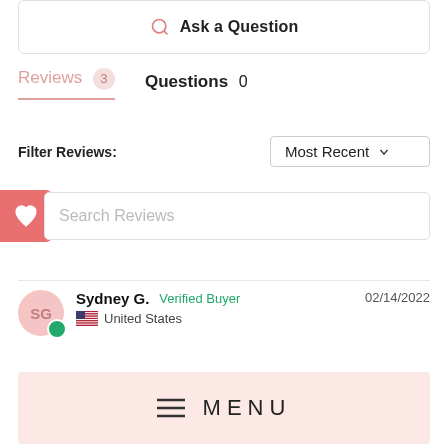Ask a Question
Reviews 3   Questions 0
Filter Reviews:
Most Recent
Search Reviews
Sydney G.  Verified Buyer  02/14/2022
United States
MENU